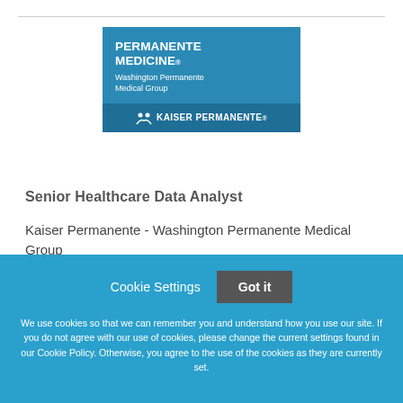[Figure (logo): Permanente Medicine / Washington Permanente Medical Group logo with Kaiser Permanente branding on blue background]
Senior Healthcare Data Analyst
Kaiser Permanente - Washington Permanente Medical Group
Cookie Settings   Got it
We use cookies so that we can remember you and understand how you use our site. If you do not agree with our use of cookies, please change the current settings found in our Cookie Policy. Otherwise, you agree to the use of the cookies as they are currently set.